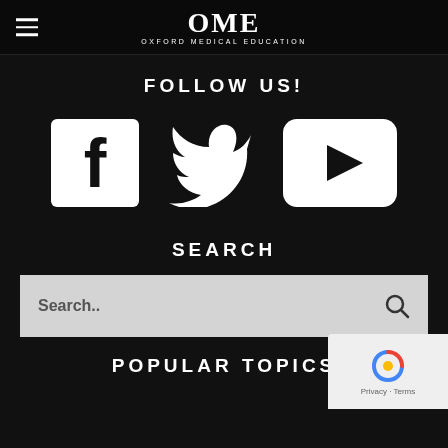OME OXFORD MEDICAL EDUCATION
FOLLOW US!
[Figure (illustration): Three social media icons: Facebook (white F on dark square), Twitter (white bird silhouette), YouTube (white play button on rounded rectangle)]
SEARCH
Search..
POPULAR TOPICS